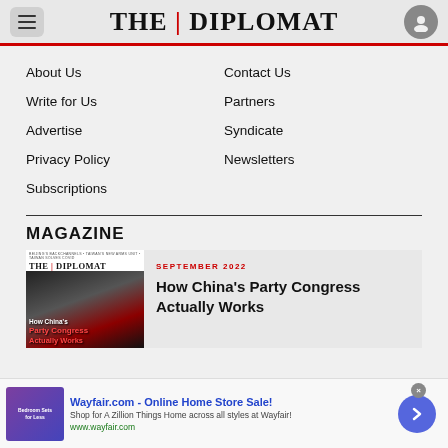THE | DIPLOMAT
About Us
Contact Us
Write for Us
Partners
Advertise
Syndicate
Privacy Policy
Newsletters
Subscriptions
MAGAZINE
SEPTEMBER 2022
How China's Party Congress Actually Works
Wayfair.com - Online Home Store Sale! Shop for A Zillion Things Home across all styles at Wayfair! www.wayfair.com